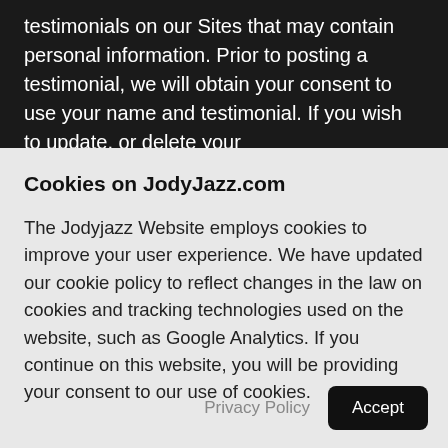testimonials on our Sites that may contain personal information. Prior to posting a testimonial, we will obtain your consent to use your name and testimonial. If you wish to update, or delete your
Cookies on JodyJazz.com
The Jodyjazz Website employs cookies to improve your user experience. We have updated our cookie policy to reflect changes in the law on cookies and tracking technologies used on the website, such as Google Analytics. If you continue on this website, you will be providing your consent to our use of cookies.
Privacy Policy
Accept